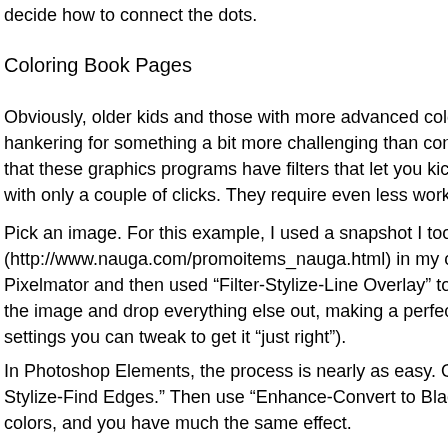decide how to connect the dots.
Coloring Book Pages
Obviously, older kids and those with more advanced coloring sk hankering for something a bit more challenging than connect-th that these graphics programs have filters that let you kick out co with only a couple of clicks. They require even less work than th
Pick an image. For this example, I used a snapshot I took of my (http://www.nauga.com/promoitems_nauga.html) in my office. I Pixelmator and then used "Filter-Stylize-Line Overlay" to automa the image and drop everything else out, making a perfect colori settings you can tweak to get it "just right").
In Photoshop Elements, the process is nearly as easy. Open the Stylize-Find Edges." Then use "Enhance-Convert to Black-and– colors, and you have much the same effect.
In GIMP, you can try "Colors-Desaturate," then "Filters-Edge De